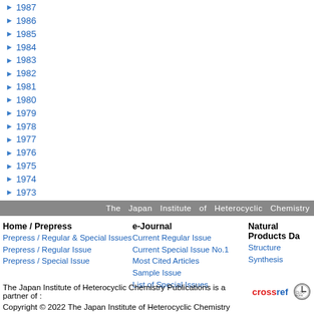▶ 1987
▶ 1986
▶ 1985
▶ 1984
▶ 1983
▶ 1982
▶ 1981
▶ 1980
▶ 1979
▶ 1978
▶ 1977
▶ 1976
▶ 1975
▶ 1974
▶ 1973
The Japan Institute of Heterocyclic Chemistry
Home / Prepress
Prepress / Regular & Special Issues
Prepress / Regular Issue
Prepress / Special Issue
e-Journal
Current Regular Issue
Current Special Issue No.1
Most Cited Articles
Sample Issue
List of Special Issues
Natural Products Da
Structure
Synthesis
The Japan Institute of Heterocyclic Chemistry Publications is a partner of : crossref CLOCK
Copyright © 2022 The Japan Institute of Heterocyclic Chemistry